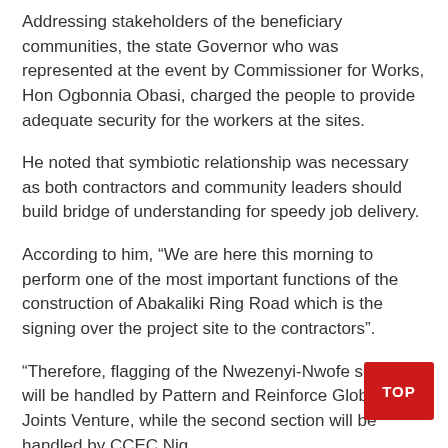Addressing stakeholders of the beneficiary communities, the state Governor who was represented at the event by Commissioner for Works, Hon Ogbonnia Obasi, charged the people to provide adequate security for the workers at the sites.
He noted that symbiotic relationship was necessary as both contractors and community leaders should build bridge of understanding for speedy job delivery.
According to him, “We are here this morning to perform one of the most important functions of the construction of Abakaliki Ring Road which is the signing over the project site to the contractors”.
“Therefore, flagging of the Nwezenyi-Nwofe section will be handled by Pattern and Reinforce Global Joints Venture, while the second section will be handled by CCEC Nig. Ltd respectively and it means that the construction of th has already commenced”.